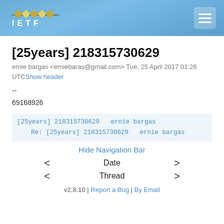IETF
[25years] 218315730629
ernie bargas <erniebaras@gmail.com> Tue, 25 April 2017 01:26 UTC Show header
--
69168926
[25years] 218315730629  ernie bargas
Re: [25years] 218315730629  ernie bargas
Hide Navigation Bar
< Date >
< Thread >
v2.8.10 | Report a Bug | By Email